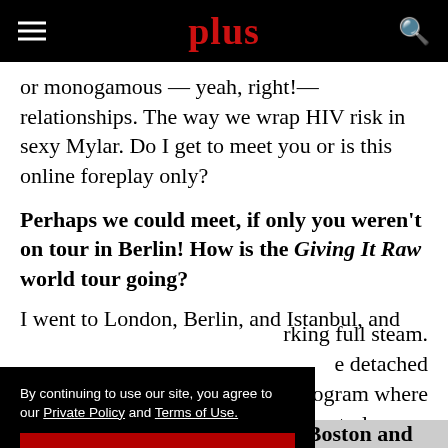plus
or monogamous — yeah, right!— relationships. The way we wrap HIV risk in sexy Mylar. Do I get to meet you or is this online foreplay only?
Perhaps we could meet, if only you weren't on tour in Berlin! How is the Giving It Raw world tour going?
I went to London, Berlin, and Istanbul, and ...rking full steam. ...e detached ...Y program where ...neutral space. Coffee...
By continuing to use our site, you agree to our Private Policy and Terms of Use.
Accept
[Figure (infographic): ViiV Healthcare advertisement: LEARN ABOUT A LONG-ACTING HIV TREATMENT OPTION]
I wish! Alas, I'm down here in Boston and...